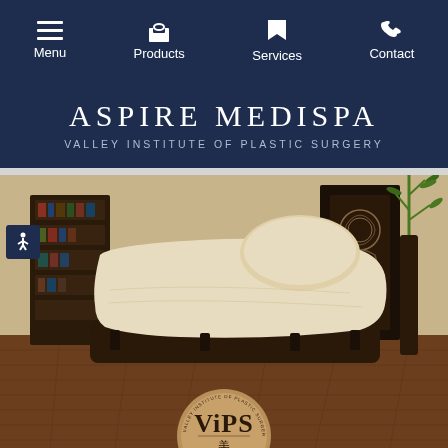Menu | Products | Services | Contact
ASPIRE MEDISPA
VALLEY INSTITUTE OF PLASTIC SURGERY
[Figure (photo): Interior spa room with cream-colored chaise lounge treatment bed with pillow, dark leather sofa in background, bookshelf, decorative screen, and bamboo plant on hardwood floors]
[Figure (logo): ViPS Aspire MediSpa circular logo with brown background, showing V, i, stylized character, P, S letters and text ASPIRE MediSpa, with VALLEY INSTITUTE OF PLASTIC SURGERY around the circumference]